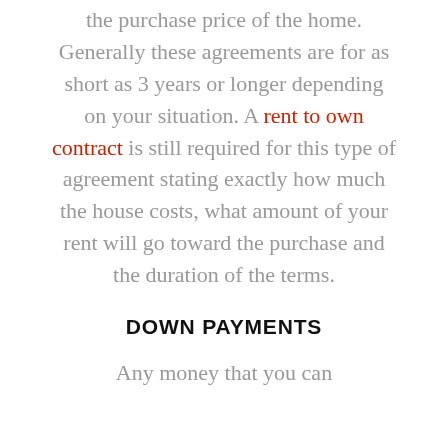the purchase price of the home. Generally these agreements are for as short as 3 years or longer depending on your situation. A rent to own contract is still required for this type of agreement stating exactly how much the house costs, what amount of your rent will go toward the purchase and the duration of the terms.
DOWN PAYMENTS
Any money that you can